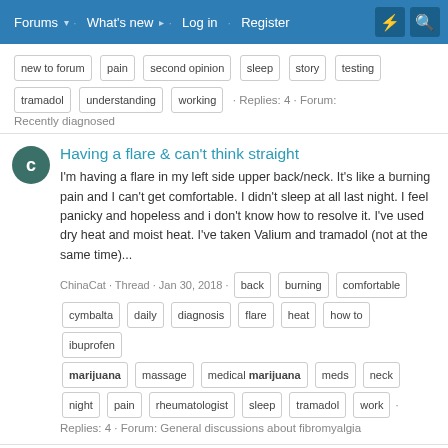Forums | What's new | Log in | Register
Tags: new to forum, pain, second opinion, sleep, story, testing, tramadol, understanding, working · Replies: 4 · Forum: Recently diagnosed
Having a flare & can't think straight
I'm having a flare in my left side upper back/neck. It's like a burning pain and I can't get comfortable. I didn't sleep at all last night. I feel panicky and hopeless and i don't know how to resolve it. I've used dry heat and moist heat. I've taken Valium and tramadol (not at the same time)...
ChinaCat · Thread · Jan 30, 2018 · Tags: back, burning, comfortable, cymbalta, daily, diagnosis, flare, heat, how to, ibuprofen, marijuana, massage, medical marijuana, meds, neck, night, pain, rheumatologist, sleep, tramadol, work · Replies: 4 · Forum: General discussions about fibromyalgia
Use of Magic Truffles?
Hi all, I just want to ask if someone ever tried using shrooms or truffles for medical purposes? I was reading some articles about this magic truffles and shrooms before engaging my self for the